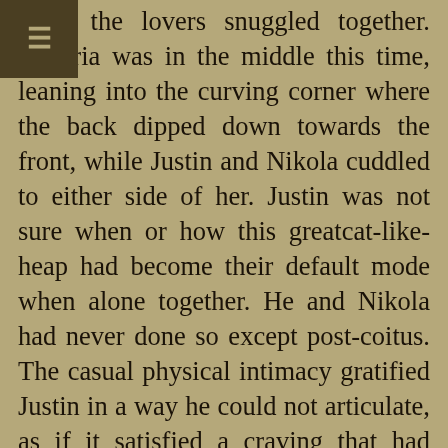[Figure (other): Dark olive/brown square in top-left corner containing a hamburger menu icon (three horizontal lines) in tan color]
efore the lovers snuggled together. Visteria was in the middle this time, leaning into the curving corner where the back dipped down towards the front, while Justin and Nikola cuddled to either side of her. Justin was not sure when or how this greatcat-like-heap had become their default mode when alone together. He and Nikola had never done so except post-coitus. The casual physical intimacy gratified Justin in a way he could not articulate, as if it satisfied a craving that had gone unacknowledged so long he had not realized it existed. It was disquieting if he thought about it. He tried not to think about it.